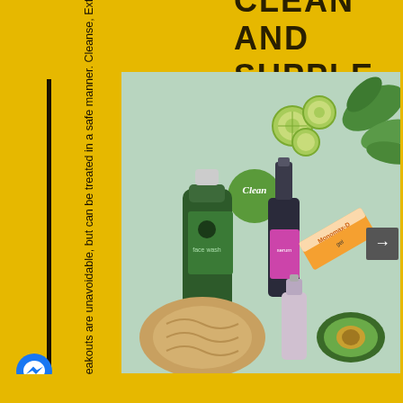CLEAN AND SUPPLE
[Figure (photo): Flat lay product photo on mint/sage green background showing skincare products: a green tube (face wash), a dark dropper bottle with pink label, a smaller dropper bottle, a Monomax-D box (orange/white), cucumber slices, avocado half, green leaves, and a loofah sponge. A circular green badge reads 'Clean'.]
Acnes, Skin Impurities & Breakouts are unavoidable, but can be treated in a safe manner. Cleanse, Exfoliate & Treat your skin